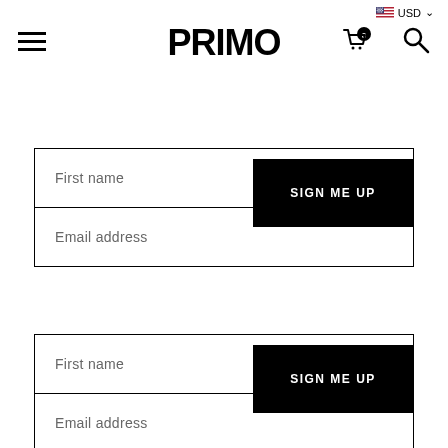PRIMO — USD currency selector, hamburger menu, cart (0), search
[Figure (screenshot): Form section 1: First name input field with SIGN ME UP button, followed by Email address input field]
[Figure (screenshot): Form section 2 (repeat): First name input field with SIGN ME UP button, followed by Email address input field (partially visible)]